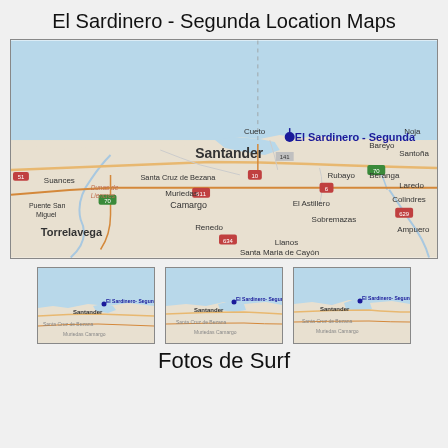El Sardinero - Segunda Location Maps
[Figure (map): Regional map showing Santander and surrounding area including El Sardinero - Segunda marked with a pin, and nearby towns including Cueto, Santa Cruz de Bezana, Muriedas, Camargo, El Astillero, Sobremazas, Torrelavega, Renedo, Llanos, Santa Maria de Cayón, Rubayo, Beranga, Bareyo, Noja, Santoña, Laredo, Colindres, Ampuero, Suances. Roads and coastal features visible.]
[Figure (map): Thumbnail map zoom level 1 of El Sardinero - Segunda area]
[Figure (map): Thumbnail map zoom level 2 of El Sardinero - Segunda area]
[Figure (map): Thumbnail map zoom level 3 of El Sardinero - Segunda area]
Fotos de Surf